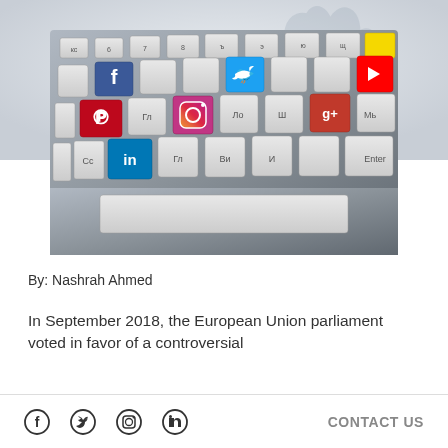[Figure (photo): A keyboard with social media app icon keys including Facebook, Twitter, Instagram, YouTube, Pinterest, LinkedIn, and Google+ replacing standard keys. Background shows a faded lion emblem watermark.]
By: Nashrah Ahmed
In September 2018, the European Union parliament voted in favor of a controversial
Facebook Twitter Instagram LinkedIn    CONTACT US